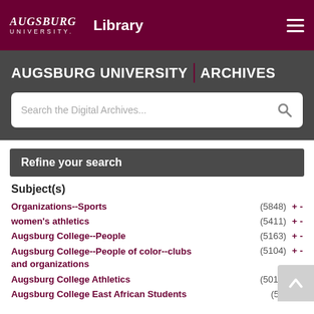Augsburg University Library
AUGSBURG UNIVERSITY | ARCHIVES
Search the Digital Archives...
Refine your search
Subject(s)
Organizations--Sports (5848) + -
women's athletics (5411) + -
Augsburg College--People (5163) + -
Augsburg College--People of color--clubs and organizations (5104) + -
Augsburg College Athletics (5010) + -
Augsburg College East African Students (5005)